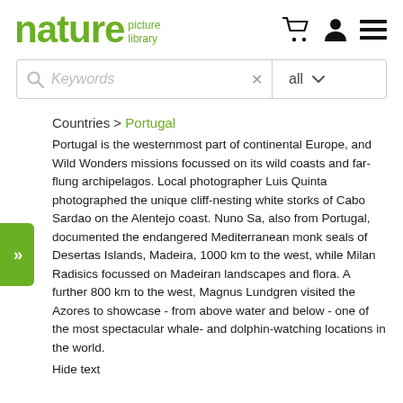nature picture library
Keywords   all
Countries > Portugal
Portugal is the westernmost part of continental Europe, and Wild Wonders missions focussed on its wild coasts and far-flung archipelagos. Local photographer Luis Quinta photographed the unique cliff-nesting white storks of Cabo Sardao on the Alentejo coast. Nuno Sa, also from Portugal, documented the endangered Mediterranean monk seals of Desertas Islands, Madeira, 1000 km to the west, while Milan Radisics focussed on Madeiran landscapes and flora. A further 800 km to the west, Magnus Lundgren visited the Azores to showcase - from above water and below - one of the most spectacular whale- and dolphin-watching locations in the world.
Hide text